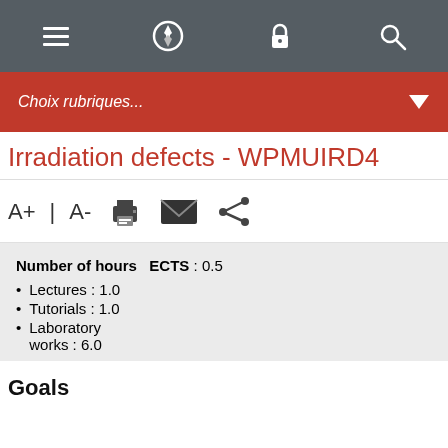[Figure (screenshot): Top navigation bar with menu, compass, lock, and search icons on dark grey background]
[Figure (screenshot): Red dropdown bar with italic text 'Choix rubriques...' and a white down-arrow triangle]
Irradiation defects - WPMUIRD4
[Figure (screenshot): Toolbar row with A+, A-, print, email, and share icons]
Number of hours   ECTS : 0.5
Lectures : 1.0
Tutorials : 1.0
Laboratory works : 6.0
Goals